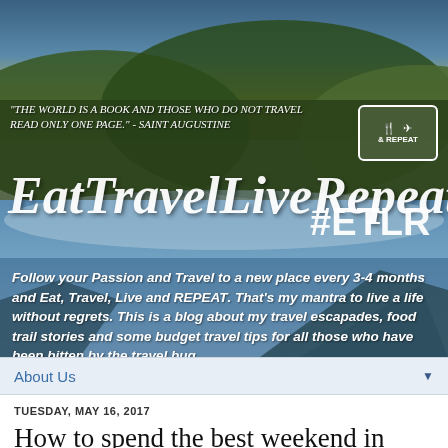[Figure (screenshot): Travel blog banner with scenic mountain and sky landscape background, blog logo top right]
"THE WORLD IS A BOOK AND THOSE WHO DO NOT TRAVEL READ ONLY ONE PAGE." - SAINT AUGUSTINE
EatTravelLiveRepeat #ETLR
Follow your Passion and Travel to a new place every 3-4 months and Eat, Travel, Live and REPEAT. That's my mantra to live a life without regrets. This is a blog about my travel escapades, food trail stories and some budget travel tips for all those who have been bitten by the travel bug.
About Us
TUESDAY, MAY 16, 2017
How to spend the best weekend in Dubai